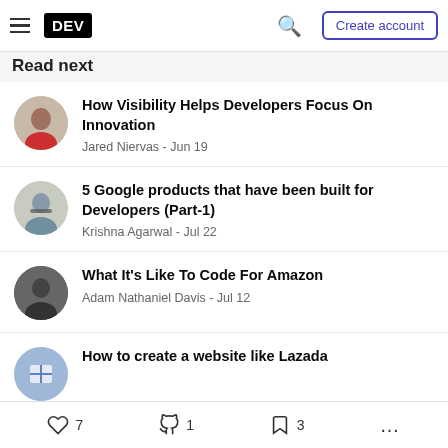DEV — Create account
Read next
How Visibility Helps Developers Focus On Innovation — Jared Niervas - Jun 19
5 Google products that have been built for Developers (Part-1) — Krishna Agarwal - Jul 22
What It's Like To Code For Amazon — Adam Nathaniel Davis - Jul 12
How to create a website like Lazada
♡ 7   🔥 1   🔖 3   ...